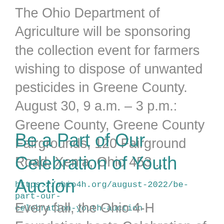The Ohio Department of Agriculture will be sponsoring the collection event for farmers wishing to dispose of unwanted pesticides in Greene County. August 30, 9 a.m. – 3 p.m.:   Greene County, Greene County Fairgrounds, 120 Fairground Road, Xenia, Ohio 453 ...
Be a Part of Our Celebration of Youth Auction
https://ohio4h.org/august-2022/be-part-our-celebration-youth-auction
Every fall, the Ohio 4-H Foundation hosts Celebration of Youth, a fundraising and community fall achievement for adults 21...